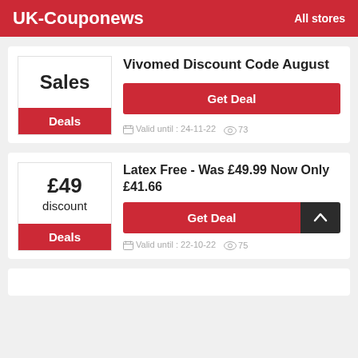UK-Couponews    All stores
Sales
Deals
Vivomed Discount Code August
Get Deal
Valid until : 24-11-22   73
£49
discount
Deals
Latex Free - Was £49.99 Now Only £41.66
Get Deal
Valid until : 22-10-22   75